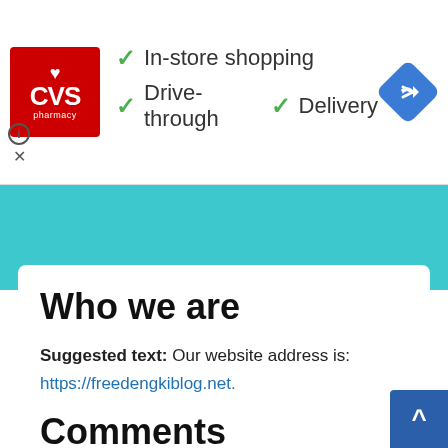[Figure (screenshot): CVS Pharmacy advertisement banner with red logo, green checkmarks showing 'In-store shopping', 'Drive-through', 'Delivery', and a blue navigation diamond icon]
[Figure (screenshot): Teal colored bar with white collapse tab showing an up arrow caret on the left side]
Who we are
Suggested text: Our website address is:
https://freedengkiblog.net.
Comments
Suggested text: When visitors leave comments on the site we collect the data shown in the comments form, and also the visitor's IP address and browser